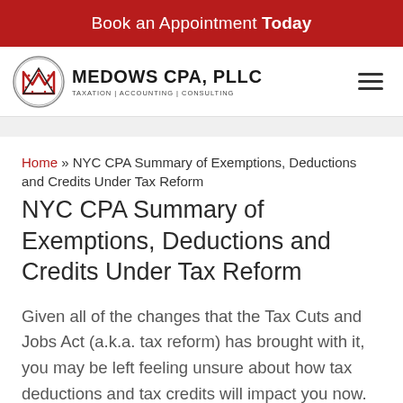Book an Appointment Today
[Figure (logo): Medows CPA, PLLC logo with circular M emblem and text: MEDOWS CPA, PLLC TAXATION | ACCOUNTING | CONSULTING]
Home » NYC CPA Summary of Exemptions, Deductions and Credits Under Tax Reform
NYC CPA Summary of Exemptions, Deductions and Credits Under Tax Reform
Given all of the changes that the Tax Cuts and Jobs Act (a.k.a. tax reform) has brought with it, you may be left feeling unsure about how tax deductions and tax credits will impact you now. Here are some pointers to help clear up the most